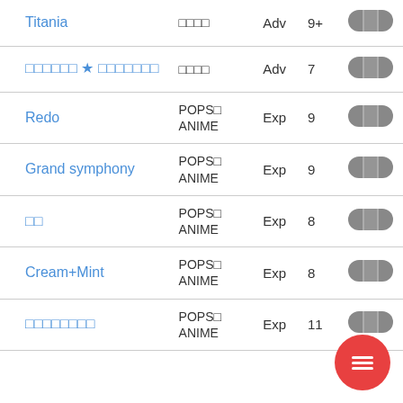| Title | Genre | Difficulty | Level | Badge |
| --- | --- | --- | --- | --- |
| Titania | □□□□ | Adv | 9+ | pill |
| □□□□□□ ★ □□□□□□□ | □□□□ | Adv | 7 | pill |
| Redo | POPS□ ANIME | Exp | 9 | pill |
| Grand symphony | POPS□ ANIME | Exp | 9 | pill |
| □□ | POPS□ ANIME | Exp | 8 | pill |
| Cream+Mint | POPS□ ANIME | Exp | 8 | pill |
| □□□□□□□□ | POPS□ ANIME | Exp | 11 | pill |